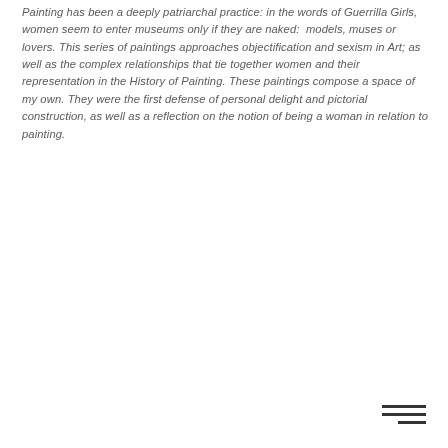Painting has been a deeply patriarchal practice: in the words of Guerrilla Girls, women seem to enter museums only if they are naked:  models, muses or lovers. This series of paintings approaches objectification and sexism in Art; as well as the complex relationships that tie together women and their representation in the History of Painting. These paintings compose a space of my own. They were the first defense of personal delight and pictorial construction, as well as a reflection on the notion of being a woman in relation to painting.